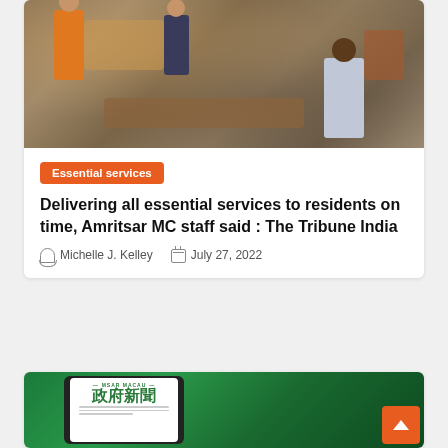[Figure (photo): Outdoor market scene with vendors and shoppers, colorful goods displayed on the ground, stone paved area]
Essential services
Delivering all essential services to residents on time, Amritsar MC staff said : The Tribune India
Michelle J. Kelley   July 27, 2022
[Figure (photo): Tablet showing MSAR MACAU government news publication with Chinese characters 政府新聞 on a green background]